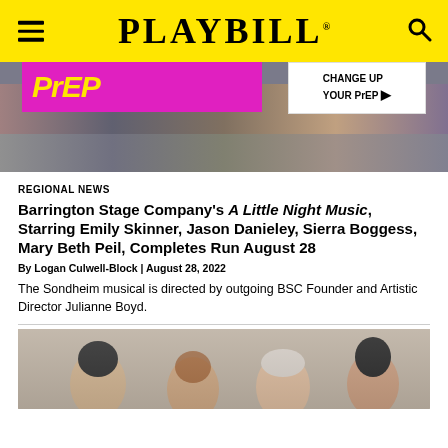PLAYBILL
[Figure (photo): Advertisement banner for PrEP medication showing 'PEP' text in yellow on magenta background and 'CHANGE UP YOUR PrEP' text on white background]
[Figure (photo): Stage photo showing performers from A Little Night Music at Barrington Stage Company, showing lower bodies and legs in costume]
REGIONAL NEWS
Barrington Stage Company's A Little Night Music, Starring Emily Skinner, Jason Danieley, Sierra Boggess, Mary Beth Peil, Completes Run August 28
By Logan Culwell-Block | August 28, 2022
The Sondheim musical is directed by outgoing BSC Founder and Artistic Director Julianne Boyd.
[Figure (photo): Photo of four performers from A Little Night Music including a woman with short dark hair, a woman with auburn hair, an older man, and a woman with dark hair in an updo, against a gray background]